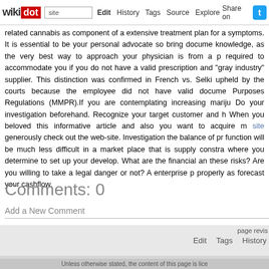wikidot | site | Edit | History | Tags | Source | Explore | Share on [Twitter]
related cannabis as component of a extensive treatment plan for a symptoms. It is essential to be your personal advocate so bring docume knowledge, as the very best way to approach your physician is from a p required to accommodate you if you do not have a valid prescription and "gray industry" supplier. This distinction was confirmed in French vs. Selki upheld by the courts because the employee did not have valid docume Purposes Regulations (MMPR).If you are contemplating increasing mariju Do your investigation beforehand. Recognize your target customer and h When you beloved this informative article and also you want to acquire m site generously check out the web-site. Investigation the balance of pr function will be much less difficult in a market place that is supply constra where you determine to set up your develop. What are the financial an these risks? Are you willing to take a legal danger or not? A enterprise p properly as forecast your cashflow.
Comments: 0
Add a New Comment
page revis
Edit   Tags   History
Powered by Wikidot.com
Unless otherwise stated, the content of this page is lice